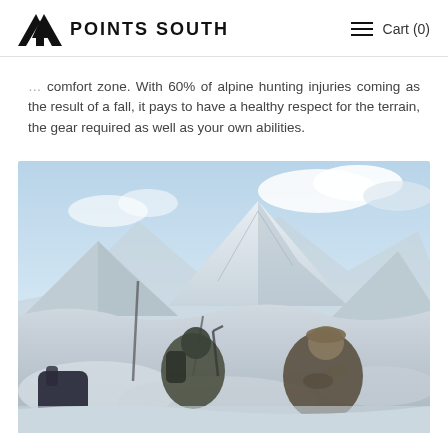POINTS SOUTH | Cart (0)
comfort zone. With 60% of alpine hunting injuries coming as the result of a fall, it pays to have a healthy respect for the terrain, the gear required as well as your own abilities.
[Figure (photo): Two hunters in camouflage gear sitting on snow with ice axes and packs, overlooking a dramatic snow-covered mountain range under a partly cloudy sky.]